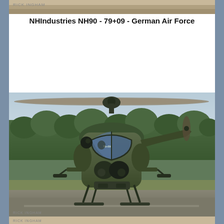[Figure (photo): Top strip photo showing a partial aerial/ground scene, partially cropped, with a watermark reading RICK INGHAM]
NHIndustries NH90 - 79+09 - German Air Force
[Figure (photo): Front-facing photograph of a NHIndustries NH90 military helicopter (serial 79+09) of the German Air Force hovering low above a runway. The helicopter is painted in olive/dark green camouflage. Rotor blades are spinning. Green trees visible in the background. Watermark RICK INGHAM visible at bottom.]